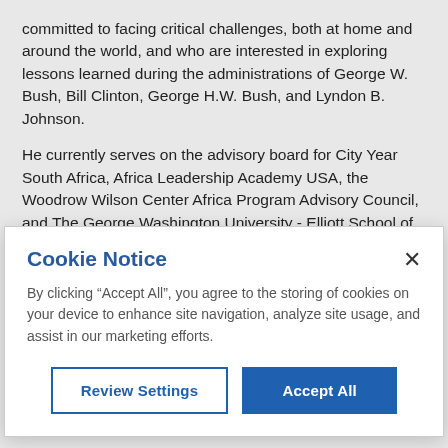committed to facing critical challenges, both at home and around the world, and who are interested in exploring lessons learned during the administrations of George W. Bush, Bill Clinton, George H.W. Bush, and Lyndon B. Johnson.
He currently serves on the advisory board for City Year South Africa, Africa Leadership Academy USA, the Woodrow Wilson Center Africa Program Advisory Council, and The George Washington University - Elliott School of International Affairs.
Cookie Notice
By clicking “Accept All”, you agree to the storing of cookies on your device to enhance site navigation, analyze site usage, and assist in our marketing efforts.